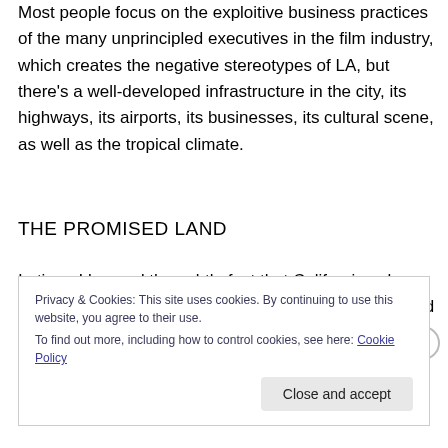Most people focus on the exploitive business practices of the many unprincipled executives in the film industry, which creates the negative stereotypes of LA, but there's a well-developed infrastructure in the city, its highways, its airports, its businesses, its cultural scene, as well as the tropical climate.
THE PROMISED LAND
In time, I learned the subtle fact that Californians know and outsiders don't: Hollywood and Los Angeles should be
Privacy & Cookies: This site uses cookies. By continuing to use this website, you agree to their use.
To find out more, including how to control cookies, see here: Cookie Policy